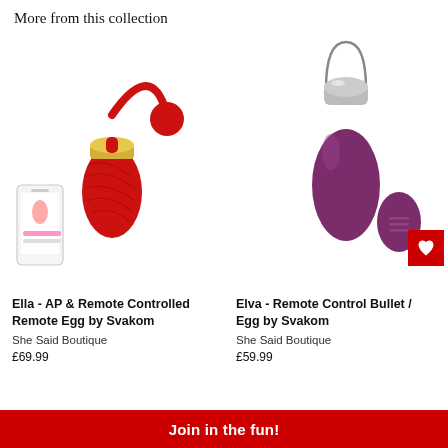More from this collection
[Figure (photo): Red remote-controlled egg vibrator with gold accent, loop handle, a small round remote, and a smartphone showing the app. Product by Svakom.]
Ella - AP & Remote Controlled Remote Egg by Svakom
She Said Boutique
£69.99
[Figure (photo): Purple/magenta egg vibrator with silver top and thin loop handle, accompanied by an oval remote control. A red heart icon badge is in the top-right corner. Product by Svakom.]
Elva - Remote Control Bullet / Egg by Svakom
She Said Boutique
£59.99
Join in the fun!